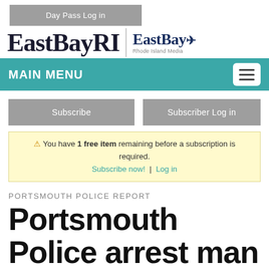Day Pass Log in
[Figure (logo): EastBayRI logo with EastBay Rhode Island media brand mark]
MAIN MENU
Subscribe
Subscriber Log in
⚠ You have 1 free item remaining before a subscription is required. Subscribe now! | Log in
PORTSMOUTH POLICE REPORT
Portsmouth Police arrest man on a charge of